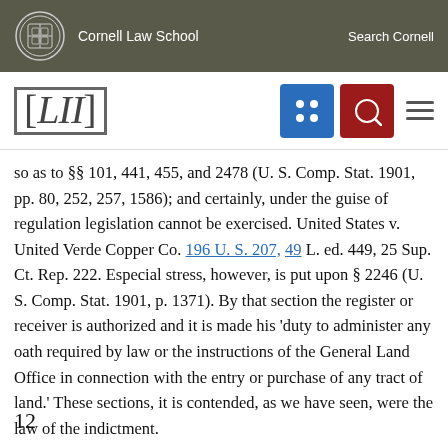Cornell Law School   Search Cornell
so as to §§ 101, 441, 455, and 2478 (U. S. Comp. Stat. 1901, pp. 80, 252, 257, 1586); and certainly, under the guise of regulation legislation cannot be exercised. United States v. United Verde Copper Co. 196 U. S. 207, 49 L. ed. 449, 25 Sup. Ct. Rep. 222. Especial stress, however, is put upon § 2246 (U. S. Comp. Stat. 1901, p. 1371). By that section the register or receiver is authorized and it is made his 'duty to administer any oath required by law or the instructions of the General Land Office in connection with the entry or purchase of any tract of land.' These sections, it is contended, as we have seen, were the law of the indictment.
12